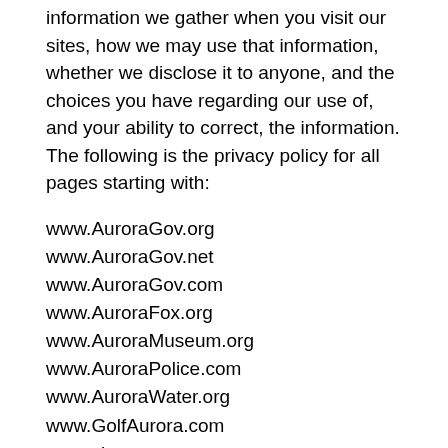information we gather when you visit our sites, how we may use that information, whether we disclose it to anyone, and the choices you have regarding our use of, and your ability to correct, the information. The following is the privacy policy for all pages starting with:
www.AuroraGov.org
www.AuroraGov.net
www.AuroraGov.com
www.AuroraFox.org
www.AuroraMuseum.org
www.AuroraPolice.com
www.AuroraWater.org
www.GolfAurora.com
www.ci.aurora.co.us